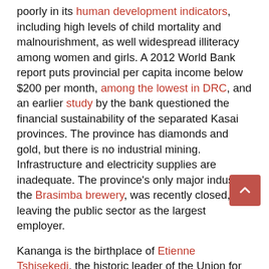poorly in its human development indicators, including high levels of child mortality and malnourishment, as well widespread illiteracy among women and girls. A 2012 World Bank report puts provincial per capita income below $200 per month, among the lowest in DRC, and an earlier study by the bank questioned the financial sustainability of the separated Kasai provinces. The province has diamonds and gold, but there is no industrial mining. Infrastructure and electricity supplies are inadequate. The province's only major industry, the Brasimba brewery, was recently closed, leaving the public sector as the largest employer.
Kananga is the birthplace of Etienne Tshisekedi, the historic leader of the Union for Democracy and Social Progress (UDPS) opposition party, and, until his death on 1 February 2017, the head of the Rassemblement opposition coalition. In the 2011 national elections, Tshisekedi and the UDPS dominated in the region. In Kasai Occidental (now split into Kasai and Kasai-Central), he obtained 75 per cent of the vote, and in former Kasai Oriental (now split into Kasai-Oriental, Sankuru and